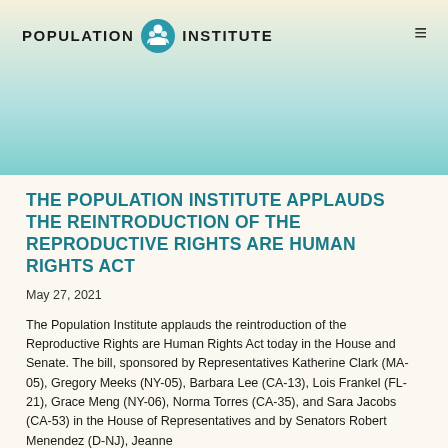POPULATION INSTITUTE
THE POPULATION INSTITUTE APPLAUDS THE REINTRODUCTION OF THE REPRODUCTIVE RIGHTS ARE HUMAN RIGHTS ACT
May 27, 2021
The Population Institute applauds the reintroduction of the Reproductive Rights are Human Rights Act today in the House and Senate. The bill, sponsored by Representatives Katherine Clark (MA-05), Gregory Meeks (NY-05), Barbara Lee (CA-13), Lois Frankel (FL-21), Grace Meng (NY-06), Norma Torres (CA-35), and Sara Jacobs (CA-53) in the House of Representatives and by Senators Robert Menendez (D-NJ), Jeanne